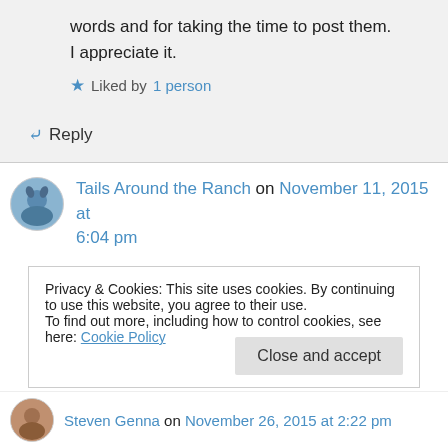words and for taking the time to post them. I appreciate it.
Liked by 1 person
Reply
Tails Around the Ranch on November 11, 2015 at 6:04 pm
Many thanks for swinging by the ‘ranch.’ I look forward to reading more of your thoughts-well
Privacy & Cookies: This site uses cookies. By continuing to use this website, you agree to their use.
To find out more, including how to control cookies, see here: Cookie Policy
Close and accept
Steven Genna on November 26, 2015 at 2:22 pm